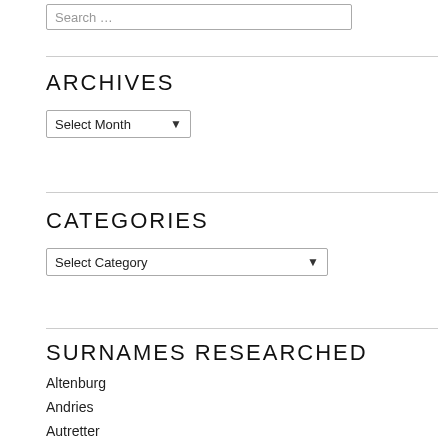Search …
ARCHIVES
Select Month
CATEGORIES
Select Category
SURNAMES RESEARCHED
Altenburg
Andries
Autretter
Bauer